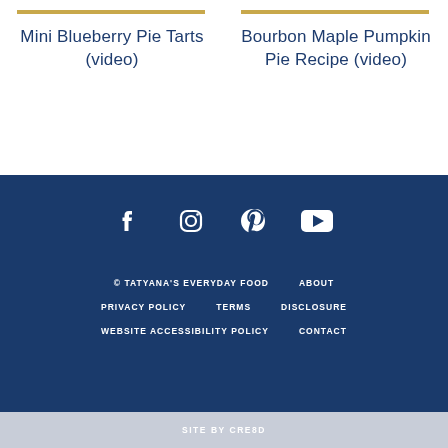Mini Blueberry Pie Tarts (video)
Bourbon Maple Pumpkin Pie Recipe (video)
[Figure (other): Social media icons: Facebook, Instagram, Pinterest, YouTube on dark blue background]
© TATYANA'S EVERYDAY FOOD   ABOUT   PRIVACY POLICY   TERMS   DISCLOSURE   WEBSITE ACCESSIBILITY POLICY   CONTACT
SITE BY CRE8D